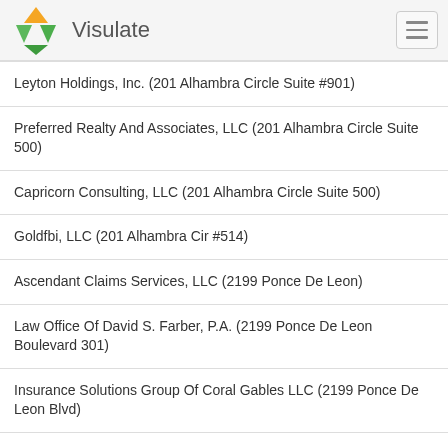Visulate
Leyton Holdings, Inc. (201 Alhambra Circle Suite #901)
Preferred Realty And Associates, LLC (201 Alhambra Circle Suite 500)
Capricorn Consulting, LLC (201 Alhambra Circle Suite 500)
Goldfbi, LLC (201 Alhambra Cir #514)
Ascendant Claims Services, LLC (2199 Ponce De Leon)
Law Office Of David S. Farber, P.A. (2199 Ponce De Leon Boulevard 301)
Insurance Solutions Group Of Coral Gables LLC (2199 Ponce De Leon Blvd)
Law Offices Of Mary Jean Catinchi Mella, P.A. (201 Alhambra Circle Suite 500)